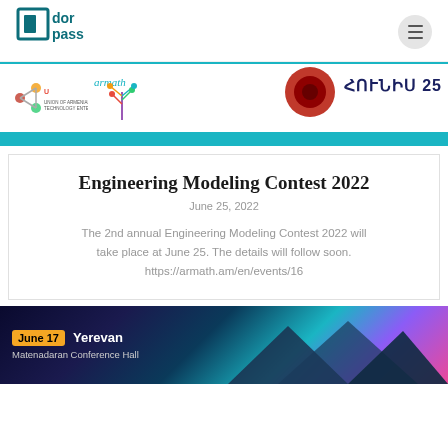[Figure (logo): Dorpass logo in teal/dark teal color with stylized square bracket icon and text 'dor pass']
[Figure (illustration): Website header banner showing UATE and armath logos on left, a red gear/cog image in center-right, and Armenian text 'ՀՈՒՆԻՍ 25' on right, with teal bottom bar]
Engineering Modeling Contest 2022
June 25, 2022
The 2nd annual Engineering Modeling Contest 2022 will take place at June 25. The details will follow soon.
https://armath.am/en/events/16
[Figure (photo): Dark promotional banner with 'June 17 Yerevan' badge in orange, 'Matenadaran Conference Hall' text, and mountain silhouette with teal/purple gradient]